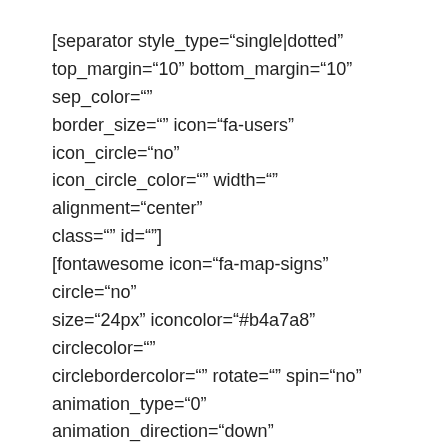[separator style_type="single|dotted" top_margin="10" bottom_margin="10" sep_color="" border_size="" icon="fa-users" icon_circle="no" icon_circle_color="" width="" alignment="center" class="" id=""] [fontawesome icon="fa-map-signs" circle="no" size="24px" iconcolor="#b4a7a8" circlecolor="" circlebordercolor="" rotate="" spin="no" animation_type="0" animation_direction="down" animation_speed="0.1" animation_offset="" alignment="left" class="" id=""]Waypoints: Hensington then Banbury Road to The Retreat GR 455172  – follow field path to Jn GR 457172 – Rd Xing GR 455176  – Sansoms Farm GR 450190 – Rd Xing  GR 435185 Path Jn GR 417178 – Path Jn GR